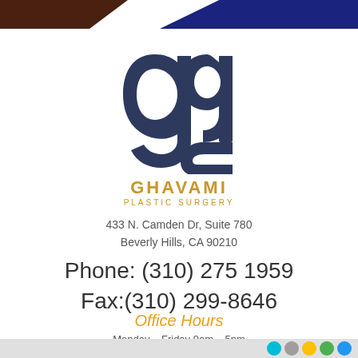[Figure (logo): Ghavami Plastic Surgery logo — stylized 'ag' monogram in dark navy blue, with 'GHAVAMI' in gold and 'PLASTIC SURGERY' below in gold smaller text]
433 N. Camden Dr, Suite 780
Beverly Hills, CA 90210
Phone: (310) 275 1959
Fax:(310) 299-8646
Office Hours
Monday – Friday 9am – 5pm
Saturday – Sunday Closed